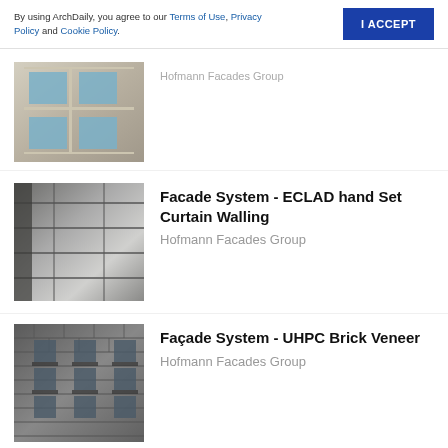By using ArchDaily, you agree to our Terms of Use, Privacy Policy and Cookie Policy.
I ACCEPT
Hofmann Facades Group
[Figure (photo): Photo of a building facade with stone cladding and square windows arranged in a grid pattern]
[Figure (photo): Photo of a building exterior showing white panel facade cladding system with visible joints]
Facade System - ECLAD hand Set Curtain Walling
Hofmann Facades Group
[Figure (photo): Photo of a multi-storey building with UHPC brick veneer facade, balconies and dark brick pattern]
Façade System - UHPC Brick Veneer
Hofmann Facades Group